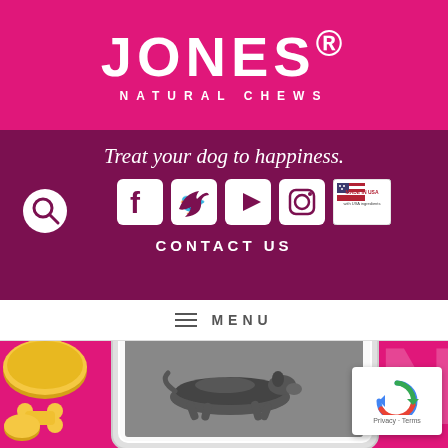[Figure (logo): Jones Natural Chews logo — white bold 'JONES.' text with 'NATURAL CHEWS' subtitle on hot pink background]
Treat your dog to happiness.
[Figure (infographic): Social media icons: Facebook, Twitter, YouTube, Instagram, and Made in USA badge; search magnifier icon on left]
CONTACT US
MENU
[Figure (screenshot): Tablet device showing a running dog (greyhound) in black and white, with text article above the image on screen]
[Figure (illustration): Gold dog treat chews/coins on the lower left]
[Figure (other): reCAPTCHA widget badge in lower right with Privacy and Terms links]